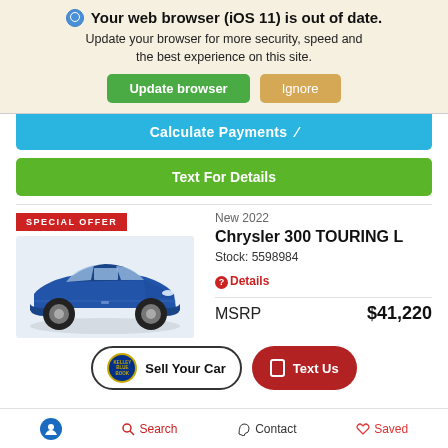Your web browser (iOS 11) is out of date. Update your browser for more security, speed and the best experience on this site.
Update browser | Ignore
Calculate Payments
Text For Details
SPECIAL OFFER
New 2022
Chrysler 300 TOURING L
Stock: 5598984
[Figure (photo): Blue Chrysler 300 sedan]
Details
MSRP $41,220
Sell Your Car | Text Us
Accessibility | Search | Contact | Saved